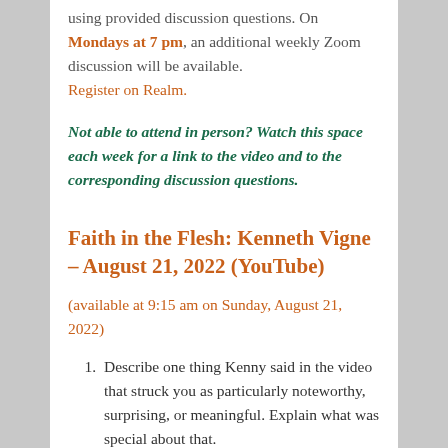using provided discussion questions. On Mondays at 7 pm, an additional weekly Zoom discussion will be available. Register on Realm.
Not able to attend in person? Watch this space each week for a link to the video and to the corresponding discussion questions.
Faith in the Flesh: Kenneth Vigne – August 21, 2022 (YouTube)
(available at 9:15 am on Sunday, August 21, 2022)
Describe one thing Kenny said in the video that struck you as particularly noteworthy, surprising, or meaningful. Explain what was special about that.